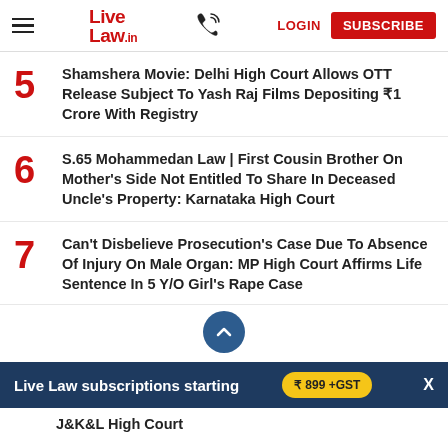Live Law — LOGIN | SUBSCRIBE
5 Shamshera Movie: Delhi High Court Allows OTT Release Subject To Yash Raj Films Depositing ₹1 Crore With Registry
6 S.65 Mohammedan Law | First Cousin Brother On Mother's Side Not Entitled To Share In Deceased Uncle's Property: Karnataka High Court
7 Can't Disbelieve Prosecution's Case Due To Absence Of Injury On Male Organ: MP High Court Affirms Life Sentence In 5 Y/O Girl's Rape Case
J&K&L High Court
Live Law subscriptions starting ₹ 899 +GST